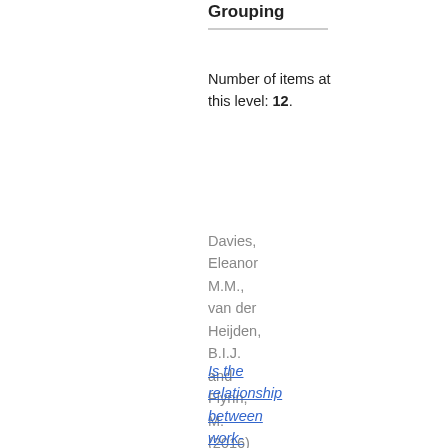Grouping
Number of items at this level: 12.
Davies, Eleanor M.M., van der Heijden, B.I.J. and Flynn, M. (2016)
Is the relationship between work-attitudes and